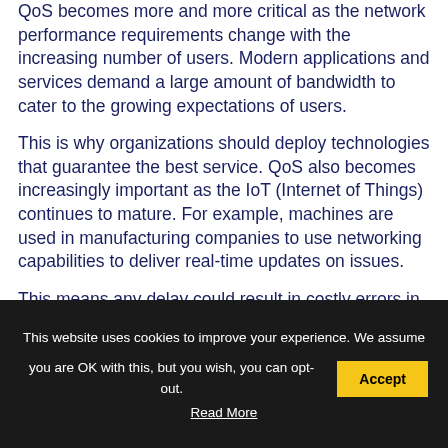QoS becomes more and more critical as the network performance requirements change with the increasing number of users. Modern applications and services demand a large amount of bandwidth to cater to the growing expectations of users.
This is why organizations should deploy technologies that guarantee the best service. QoS also becomes increasingly important as the IoT (Internet of Things) continues to mature. For example, machines are used in manufacturing companies to use networking capabilities to deliver real-time updates on issues.
This means any delay could result in costly errors in
This website uses cookies to improve your experience. We assume you are OK with this, but you wish, you can opt-out. Accept Read More